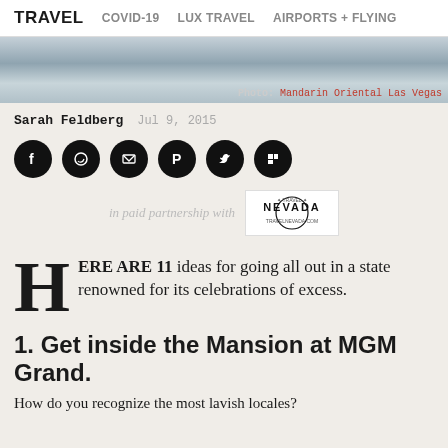TRAVEL   COVID-19   LUX TRAVEL   AIRPORTS + FLYING
[Figure (photo): Hotel room photo with caption: Photo: Mandarin Oriental Las Vegas]
Photo: Mandarin Oriental Las Vegas
Sarah Feldberg   Jul 9, 2015
[Figure (infographic): Social share icons: Facebook, WhatsApp, Email, Pinterest, Twitter, Flipboard]
in paid partnership with NEVADA
HERE ARE 11 ideas for going all out in a state renowned for its celebrations of excess.
1. Get inside the Mansion at MGM Grand.
How do you recognize the most lavish locales?